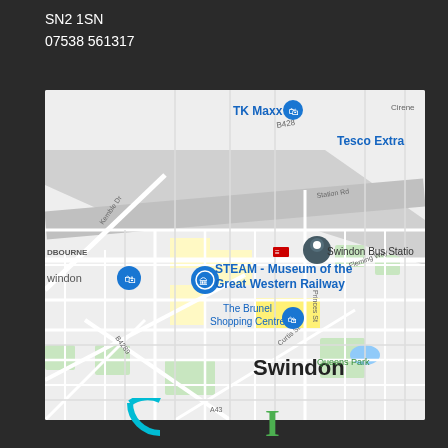SN2 1SN
07538 561317
[Figure (map): Google Map showing Swindon town centre area, with landmarks including STEAM - Museum of the Great Western Railway, The Brunel Shopping Centre, Swindon Bus Station, TK Maxx, Tesco Extra, Queens Park, and roads including Kemble Dr, Station Rd, Fleming Way, Princes St, Curtis St, B4289, A429.]
[Figure (logo): Partial logos visible at bottom of page - a teal/blue circular logo on the left and a green letter logo on the right]